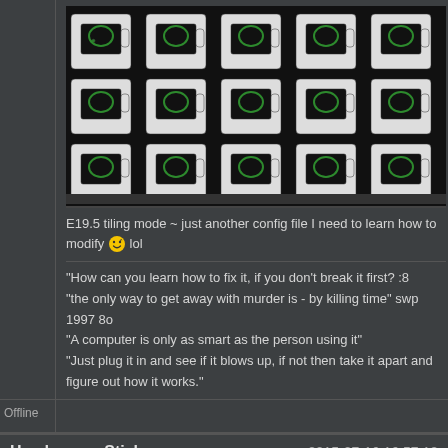[Figure (photo): Grid of coffee mugs with green logos on black background]
E19.5 tiling mode ~ just another config file I need to learn how to modify 🙂 lol
"How can you learn how to fix it, if you don't break it first? :8
"the only way to get away with murder is - by killing time" swp 1997 8o
"A computer is only as smart as the person using it"
"Just plug it in and see if it blows up, if not then take it apart and figure out how it works."
Offline
Head_on_a_Stick
2015-07-16 16:57:12
[Figure (photo): Cat avatar thumbnail]
userx-bw wrote: